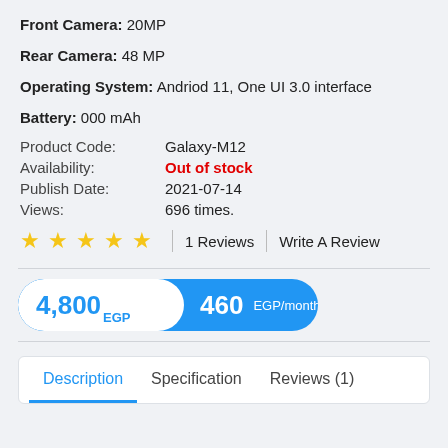Front Camera: 20MP
Rear Camera: 48 MP
Operating System: Andriod 11, One UI 3.0 interface
Battery: 000 mAh
| Label | Value |
| --- | --- |
| Product Code: | Galaxy-M12 |
| Availability: | Out of stock |
| Publish Date: | 2021-07-14 |
| Views: | 696 times. |
★ ★ ★ ★ ★  | 1 Reviews | Write A Review
4,800 EGP   460  EGP/month
Description  Specification  Reviews (1)